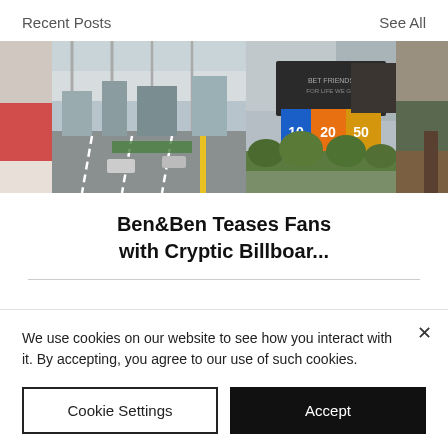Recent Posts
See All
[Figure (photo): A horizontal strip of four partially visible photos showing urban scenes with billboards and street views.]
Ben&Ben Teases Fans with Cryptic Billboar...
We use cookies on our website to see how you interact with it. By accepting, you agree to our use of such cookies.
Cookie Settings
Accept